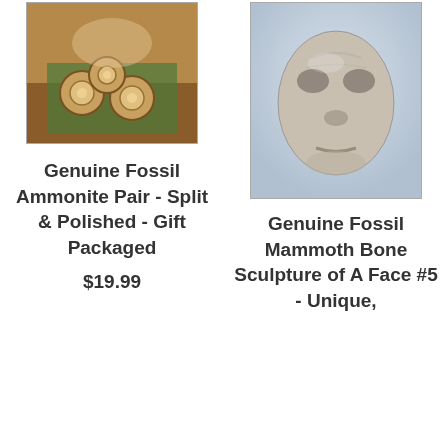[Figure (photo): Photo of Genuine Fossil Ammonite Pair on green cloth]
Genuine Fossil Ammonite Pair - Split & Polished - Gift Packaged
$19.99
[Figure (photo): Photo of Genuine Fossil Mammoth Bone Sculpture of a Face #5]
Genuine Fossil Mammoth Bone Sculpture of A Face #5 - Unique,